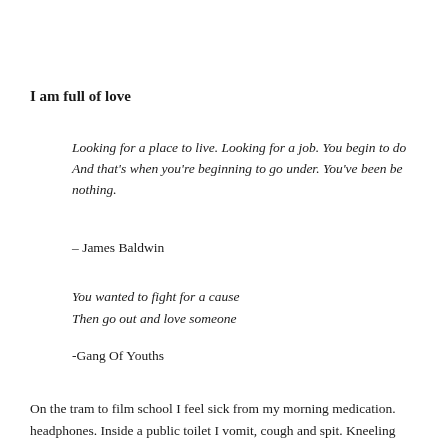I am full of love
Looking for a place to live. Looking for a job. You begin to do And that’s when you’re beginning to go under. You’ve been be nothing.
– James Baldwin
You wanted to fight for a cause
Then go out and love someone
-Gang Of Youths
On the tram to film school I feel sick from my morning medication. headphones. Inside a public toilet I vomit, cough and spit. Kneeling